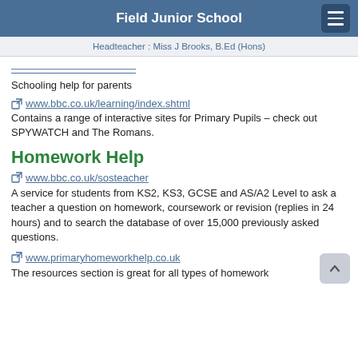Field Junior School
Headteacher : Miss J Brooks, B.Ed (Hons)
Schooling help for parents
www.bbc.co.uk/learning/index.shtml
Contains a range of interactive sites for Primary Pupils – check out SPYWATCH and The Romans.
Homework Help
www.bbc.co.uk/sosteacher
A service for students from KS2, KS3, GCSE and AS/A2 Level to ask a teacher a question on homework, coursework or revision (replies in 24 hours) and to search the database of over 15,000 previously asked questions.
www.primaryhomeworkhelp.co.uk
The resources section is great for all types of homework